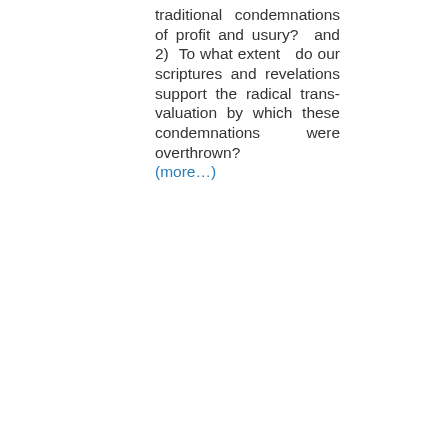traditional condemnations of profit and usury?  and 2)  To what extent  do our scriptures and revelations support the radical trans-valuation by which these condemnations were overthrown? (more…)
Comments (14)
Capitalism and the United Order –